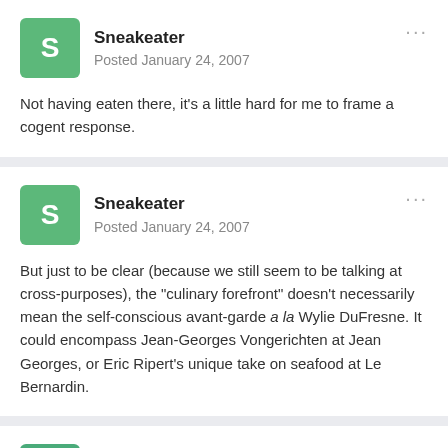Sneakeater — Posted January 24, 2007
Not having eaten there, it's a little hard for me to frame a cogent response.
Sneakeater — Posted January 24, 2007
But just to be clear (because we still seem to be talking at cross-purposes), the "culinary forefront" doesn't necessarily mean the self-conscious avant-garde a la Wylie DuFresne. It could encompass Jean-Georges Vongerichten at Jean Georges, or Eric Ripert's unique take on seafood at Le Bernardin.
Nathan — Posted January 24, 2007